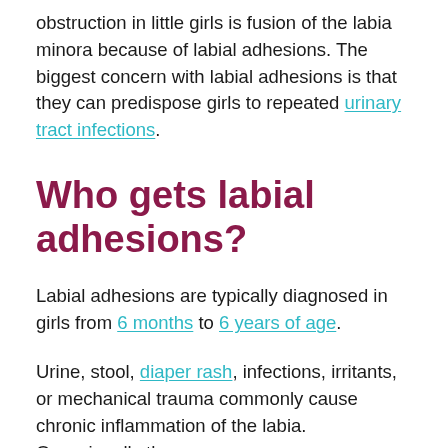obstruction in little girls is fusion of the labia minora because of labial adhesions. The biggest concern with labial adhesions is that they can predispose girls to repeated urinary tract infections.
Who gets labial adhesions?
Labial adhesions are typically diagnosed in girls from 6 months to 6 years of age.
Urine, stool, diaper rash, infections, irritants, or mechanical trauma commonly cause chronic inflammation of the labia. Occasionally the